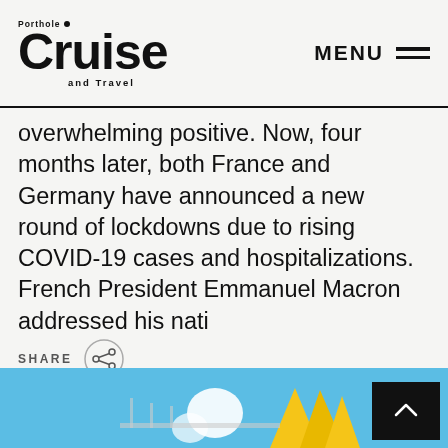Porthole Cruise and Travel — MENU
overwhelming positive. Now, four months later, both France and Germany have announced a new round of lockdowns due to rising COVID-19 cases and hospitalizations. French President Emmanuel Macron addressed his nati
[Figure (infographic): Share button with circular share icon]
[Figure (photo): Cruise ship water slide area with yellow slides against blue sky]